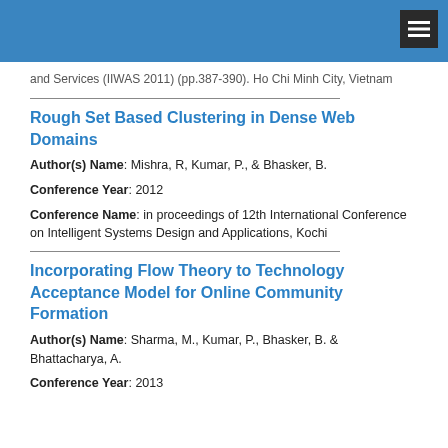and Services (IIWAS 2011) (pp.387-390). Ho Chi Minh City, Vietnam
Rough Set Based Clustering in Dense Web Domains
Author(s) Name: Mishra, R, Kumar, P., & Bhasker, B.
Conference Year: 2012
Conference Name: in proceedings of 12th International Conference on Intelligent Systems Design and Applications, Kochi
Incorporating Flow Theory to Technology Acceptance Model for Online Community Formation
Author(s) Name: Sharma, M., Kumar, P., Bhasker, B. & Bhattacharya, A.
Conference Year: 2013